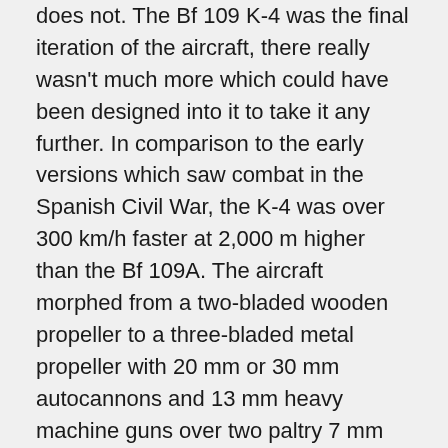does not. The Bf 109 K-4 was the final iteration of the aircraft, there really wasn't much more which could have been designed into it to take it any further. In comparison to the early versions which saw combat in the Spanish Civil War, the K-4 was over 300 km/h faster at 2,000 m higher than the Bf 109A. The aircraft morphed from a two-bladed wooden propeller to a three-bladed metal propeller with 20 mm or 30 mm autocannons and 13 mm heavy machine guns over two paltry 7 mm machine guns.
The Bf 109 K-4 is meant to dance in the sky with its quick speed, fast rate of climb and excellent energy retention, it can be used to Boom & Zoom in the vertical, unlike many other aircraft which require wide swaths of space to make their attack runs and retreats. The manoeuvrability of the aircraft allows it to